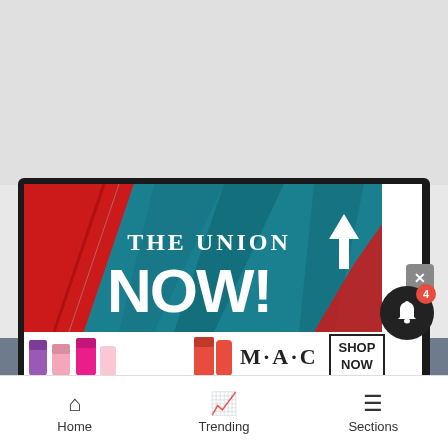[Figure (screenshot): Mobile app screenshot showing 'The Union NOW!' news app with a colorful red and teal background ad banner, MAC cosmetics ad strip below it, notification bell with badge showing 4, close button, and bottom navigation bar with Home, Trending, and Sections tabs.]
Home
Trending
Sections